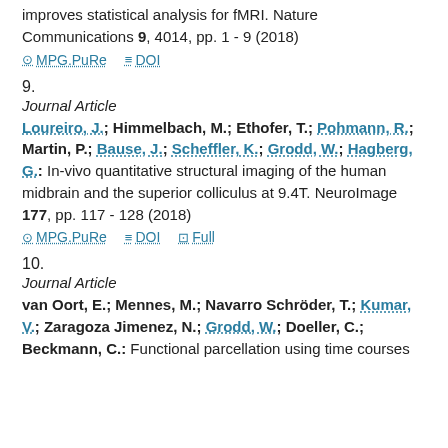improves statistical analysis for fMRI. Nature Communications 9, 4014, pp. 1 - 9 (2018)
MPG.PuRe   DOI
9.
Journal Article
Loureiro, J.; Himmelbach, M.; Ethofer, T.; Pohmann, R.; Martin, P.; Bause, J.; Scheffler, K.; Grodd, W.; Hagberg, G.: In-vivo quantitative structural imaging of the human midbrain and the superior colliculus at 9.4T. NeuroImage 177, pp. 117 - 128 (2018)
MPG.PuRe   DOI   Full
10.
Journal Article
van Oort, E.; Mennes, M.; Navarro Schröder, T.; Kumar, V.; Zaragoza Jimenez, N.; Grodd, W.; Doeller, C.; Beckmann, C.: Functional parcellation using time courses